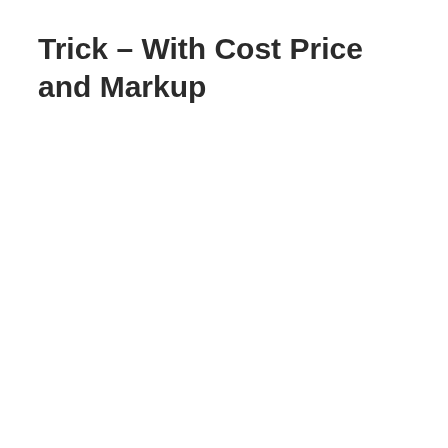Trick – With Cost Price and Markup